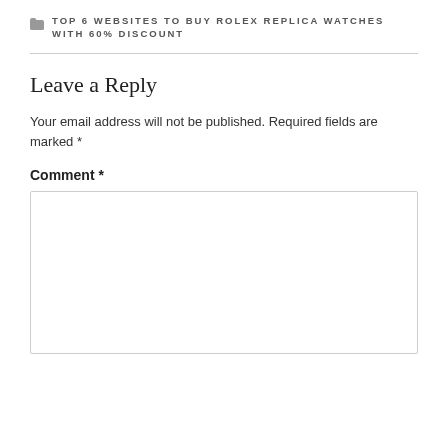TOP 6 WEBSITES TO BUY ROLEX REPLICA WATCHES WITH 60% DISCOUNT
Leave a Reply
Your email address will not be published. Required fields are marked *
Comment *
[Figure (other): Empty comment text area input box]